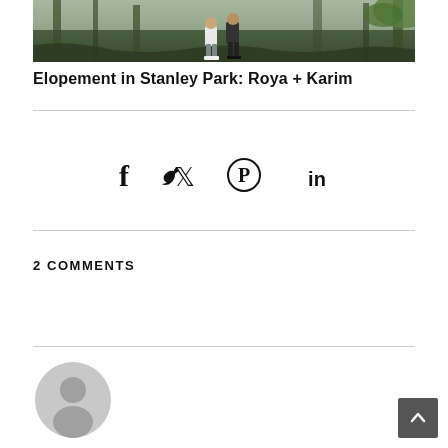[Figure (photo): Top portion of a photo showing people standing in a forested area, Stanley Park]
Elopement in Stanley Park: Roya + Karim
[Figure (infographic): Social sharing icons: Facebook (f), Twitter (bird), Pinterest (circle P), LinkedIn (in)]
2 COMMENTS
[Figure (illustration): Generic user avatar: grey circle with person silhouette icon]